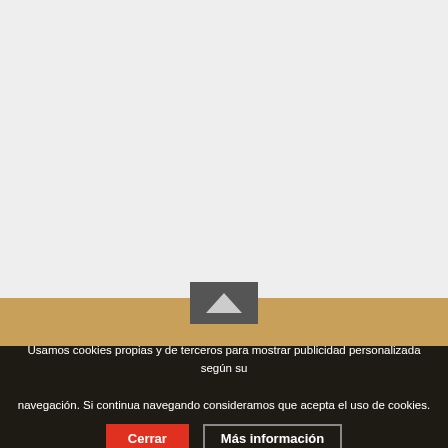¡DALE A ME GUSTA!
[Figure (screenshot): Light grey empty content area with a dark grey upward-pointing arrow widget overlapping a golden/tan horizontal bar]
Usamos cookies propias y de terceros para mostrar publicidad personalizada según su navegación. Si continua navegando consideramos que acepta el uso de cookies.
Cerrar
Más información